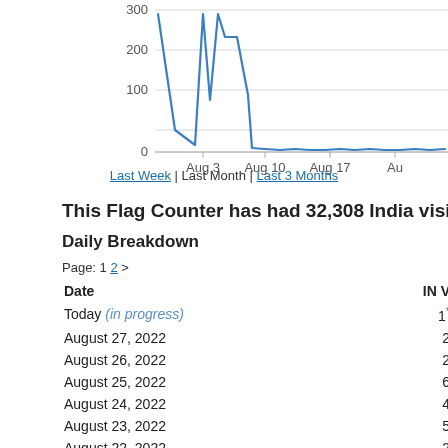[Figure (line-chart): India visitors over time]
Last Week | Last Month | Last 3 Months
This Flag Counter has had 32,308 India visitors!
Daily Breakdown
Page: 1 2 >
| Date | IN V |
| --- | --- |
| Today (in progress) | 1* |
| August 27, 2022 | 2 |
| August 26, 2022 | 2 |
| August 25, 2022 | 6 |
| August 24, 2022 | 4 |
| August 23, 2022 | 5 |
| August 22, 2022 | 2 |
| August 21, 2022 | 3 |
| August 20, 2022 | 4 |